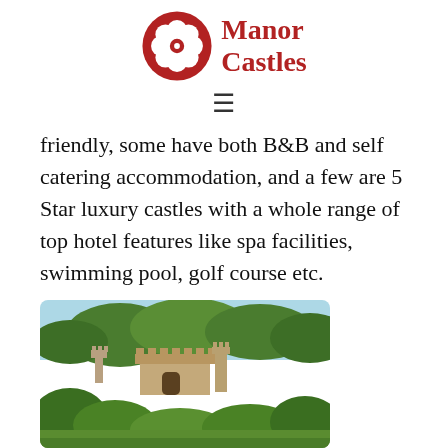Manor Castles
friendly, some have both B&B and self catering accommodation, and a few are 5 Star luxury castles with a whole range of top hotel features like spa facilities, swimming pool, golf course etc.
[Figure (photo): A stone castle with towers surrounded by dense green trees and foliage against a light blue sky]